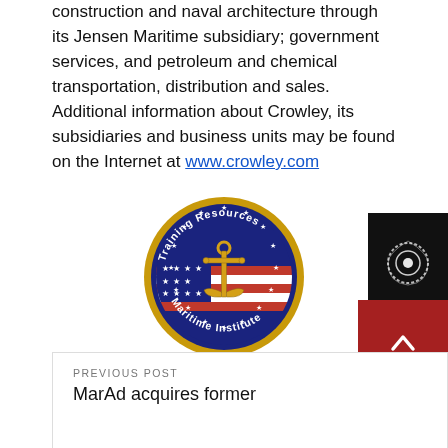construction and naval architecture through its Jensen Maritime subsidiary; government services, and petroleum and chemical transportation, distribution and sales. Additional information about Crowley, its subsidiaries and business units may be found on the Internet at www.crowley.com
[Figure (logo): Training Resources Maritime Institute circular badge/seal with an anchor and American flag motif, gold and navy blue with red and white star border]
[Figure (logo): Dark/black badge with a circular swirl logo icon in white]
By Professional Mariner Staff
PREVIOUS POST
MarAd acquires former